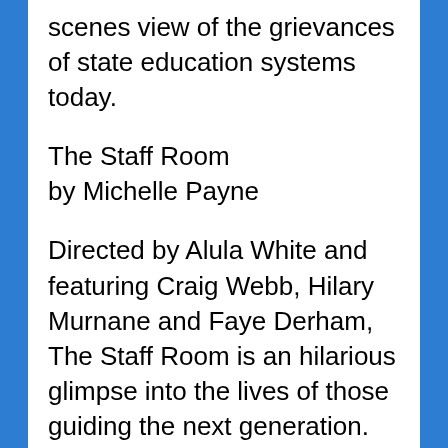scenes view of the grievances of state education systems today.
The Staff Room
by Michelle Payne
Directed by Alula White and featuring Craig Webb, Hilary Murnane and Faye Derham, The Staff Room is an hilarious glimpse into the lives of those guiding the next generation.
The Staff Room: Part of the Actor Awareness mini Season at Theatre N16